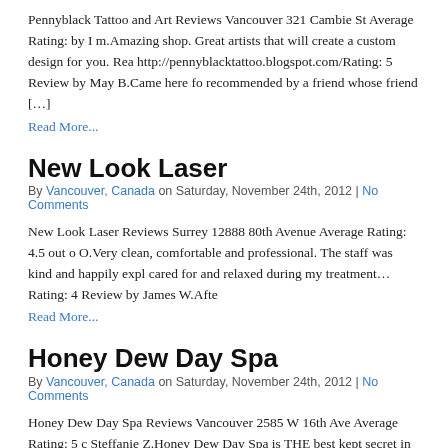Pennyblack Tattoo and Art Reviews Vancouver 321 Cambie St Average Rating: by I m.Amazing shop. Great artists that will create a custom design for you. Rea http://pennyblacktattoo.blogspot.com/Rating: 5 Review by May B.Came here fo recommended by a friend whose friend […]
Read More...
New Look Laser
By Vancouver, Canada on Saturday, November 24th, 2012 | No Comments
New Look Laser Reviews Surrey 12888 80th Avenue Average Rating: 4.5 out o O.Very clean, comfortable and professional. The staff was kind and happily exp cared for and relaxed during my treatment…Rating: 4 Review by James W.Afte
Read More...
Honey Dew Day Spa
By Vancouver, Canada on Saturday, November 24th, 2012 | No Comments
Honey Dew Day Spa Reviews Vancouver 2585 W 16th Ave Average Rating: 5 c Steffanie Z.Honey Dew Day Spa is THE best kept secret in Vancouver. I've bee over two years now and she has transformed my skin over…Rating: 5
Read More...